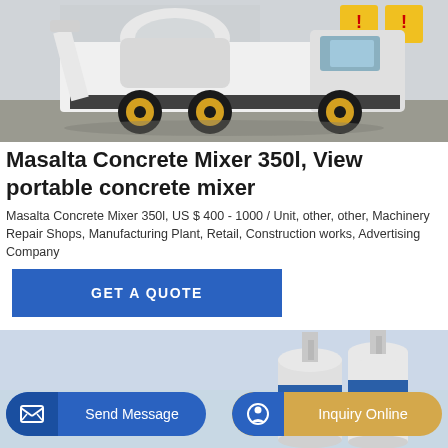[Figure (photo): Photo of a Masalta self-loading concrete mixer truck with yellow wheels, black/white body, parked on a concrete surface with yellow construction signs in background]
Masalta Concrete Mixer 350l, View portable concrete mixer
Masalta Concrete Mixer 350l, US $ 400 - 1000 / Unit, other, other, Machinery Repair Shops, Manufacturing Plant, Retail, Construction works, Advertising Company
GET A QUOTE
[Figure (photo): Partial photo of industrial concrete plant silos with blue and white stripes against a light sky background]
Send Message
Inquiry Online